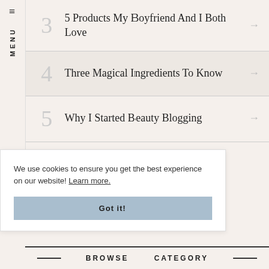MENU
5 Products My Boyfriend And I Both Love
Three Magical Ingredients To Know
Why I Started Beauty Blogging
We use cookies to ensure you get the best experience on our website! Learn more.
BROWSE   CATEGORY